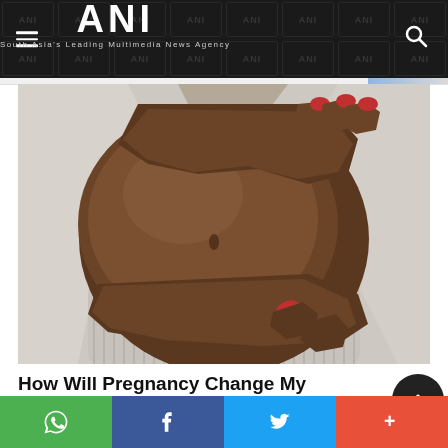ANI — South Asia's Leading Multimedia News Agency
[Figure (photo): Close-up photo of a pregnant woman in a light grey sweater holding her bare belly with both hands, showing red painted fingernails against dark skin.]
How Will Pregnancy Change My Body?
HERBEAUTY
Social share bar: WhatsApp, Facebook, Twitter, More